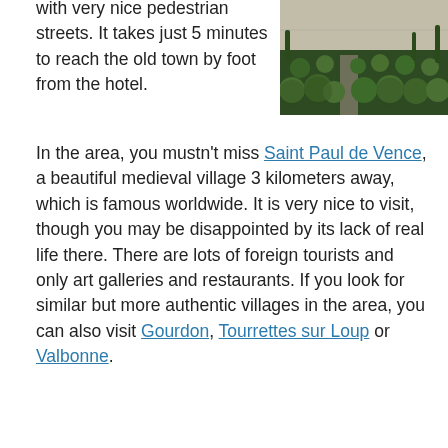with very nice pedestrian streets. It takes just 5 minutes to reach the old town by foot from the hotel.
[Figure (photo): Aerial or elevated view of a formal garden with neatly trimmed round topiary bushes against a stone wall background]
In the area, you mustn't miss Saint Paul de Vence, a beautiful medieval village 3 kilometers away, which is famous worldwide. It is very nice to visit, though you may be disappointed by its lack of real life there. There are lots of foreign tourists and only art galleries and restaurants. If you look for similar but more authentic villages in the area, you can also visit Gourdon, Tourrettes sur Loup or Valbonne.